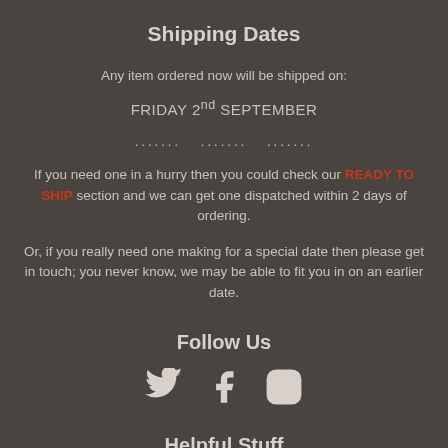Shipping Dates
Any item ordered now will be shipped on:
FRIDAY 2nd SEPTEMBER
....... ....... .......
If you need one in a hurry then you could check our READY TO SHIP section and we can get one dispatched within 2 days of ordering.
Or, if you really need one making for a special date then please get in touch; you never know, we may be able to fit you in on an earlier date.
Follow Us
[Figure (other): Social media icons: Twitter bird, Facebook F, Instagram camera]
Helpful Stuff